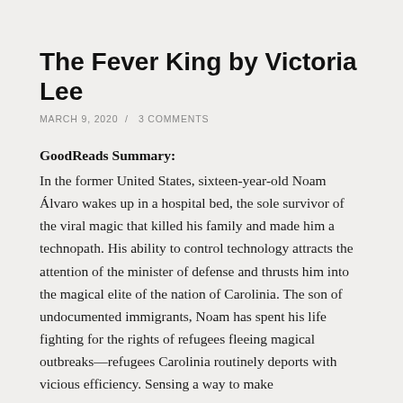The Fever King by Victoria Lee
MARCH 9, 2020  /  3 COMMENTS
GoodReads Summary:
In the former United States, sixteen-year-old Noam Álvaro wakes up in a hospital bed, the sole survivor of the viral magic that killed his family and made him a technopath. His ability to control technology attracts the attention of the minister of defense and thrusts him into the magical elite of the nation of Carolinia. The son of undocumented immigrants, Noam has spent his life fighting for the rights of refugees fleeing magical outbreaks—refugees Carolinia routinely deports with vicious efficiency. Sensing a way to make